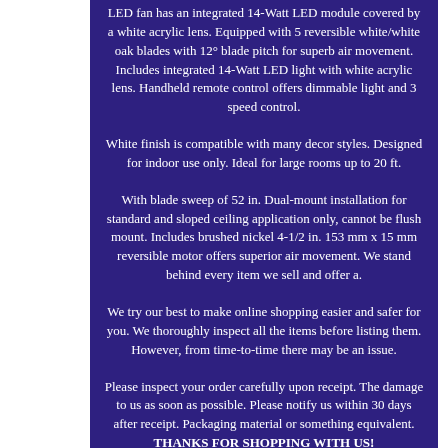LED fan has an integrated 14-Watt LED module covered by a white acrylic lens. Equipped with 5 reversible white/white oak blades with 12° blade pitch for superb air movement. Includes integrated 14-Watt LED light with white acrylic lens. Handheld remote control offers dimmable light and 3 speed control.
White finish is compatible with many decor styles. Designed for indoor use only. Ideal for large rooms up to 20 ft.
With blade sweep of 52 in. Dual-mount installation for standard and sloped ceiling application only, cannot be flush mount. Includes brushed nickel 4-1/2 in. 153 mm x 15 mm reversible motor offers superior air movement. We stand behind every item we sell and offer a.
We try our best to make online shopping easier and safer for you. We thoroughly inspect all the items before listing them. However, from time-to-time there may be an issue.
Please inspect your order carefully upon receipt. The damage to us as soon as possible. Please notify us within 30 days after receipt. Packaging material or something equivalent. THANKS FOR SHOPPING WITH US!